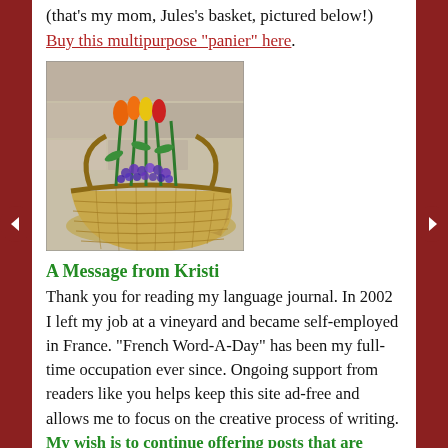(that's my mom, Jules's basket, pictured below!) Buy this multipurpose "panier" here.
[Figure (photo): A wicker basket filled with colorful spring flowers including orange and yellow tulips and purple hyacinths, placed against a stone wall background.]
A Message from Kristi
Thank you for reading my language journal. In 2002 I left my job at a vineyard and became self-employed in France. "French Word-A-Day" has been my full-time occupation ever since. Ongoing support from readers like you helps keep this site ad-free and allows me to focus on the creative process of writing. My wish is to continue offering posts that are educational, insightful, and heart-warming. If my work has touched you in any way, please consider supporting